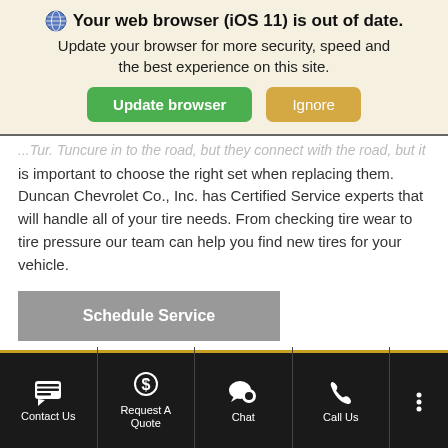[Figure (screenshot): Browser update notification banner with globe icon, bold warning title 'Your web browser (iOS 11) is out of date.', subtitle text, green 'Update browser' button and tan 'Ignore' button on beige background.]
...running life on the road, but it is important to choose the right set when replacing them. Duncan Chevrolet Co., Inc. has Certified Service experts that will handle all of your tire needs. From checking tire wear to tire pressure our team can help you find new tires for your vehicle.
Schedule Service
Tire Finder
Contact Us | Request A Quote | Chat | Call Us | More